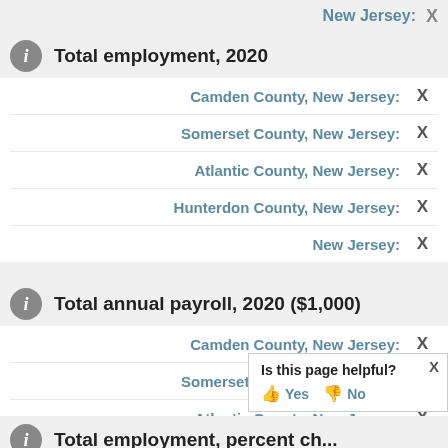New Jersey:  X
Total employment, 2020
Camden County, New Jersey: X
Somerset County, New Jersey: X
Atlantic County, New Jersey: X
Hunterdon County, New Jersey: X
New Jersey: X
Total annual payroll, 2020 ($1,000)
Camden County, New Jersey: X
Somerset County, New Jersey: X
Atlantic County, New Jersey: X
Hunterdon County, New Jersey: X
Is this page helpful? Yes No
Total employment, percent ch...